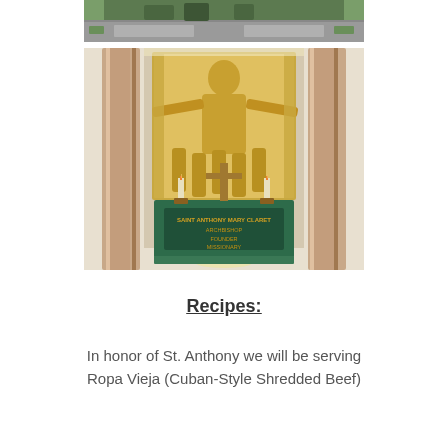[Figure (photo): Aerial or exterior view of a building/campus with trees and parking lot, partially cropped at top of page]
[Figure (photo): Interior altar of a Catholic church dedicated to Saint Anthony Mary Claret, Archbishop, Founder, Missionary. Marble columns flank a large gold relief sculpture of a saint with outstretched arms above figures. A cross stands on the altar. The altar front reads: SAINT ANTHONY MARY CLARET / ARCHBISHOP / FOUNDER / MISSIONARY / PRAY FOR US]
Recipes:
In honor of St. Anthony we will be serving
Ropa Vieja (Cuban-Style Shredded Beef)